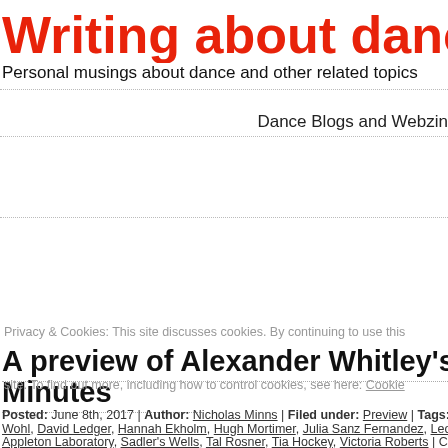Writing about dance
Personal musings about dance and other related topics
Dance Blogs and Webzines
A preview of Alexander Whitley's new work 8 Minutes
Privacy & Cookies: This site discusses cookies. By continuing to use this site, you agree to their use, including how to control cookies, see here: Cookie
Posted: June 8th, 2017 | Author: Nicholas Minns | Filed under: Preview | Tags: 8 Minutes, Wohl, David Ledger, Hannah Ekholm, Hugh Mortimer, Julia Sanz Fernandez, Leon Poulton, Appleton Laboratory, Sadler's Wells, Tal Rosner, Tia Hockey, Victoria Roberts | Comments Off